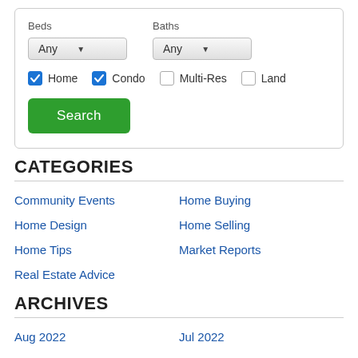[Figure (screenshot): Search form with Beds and Baths dropdowns (both set to Any), checkboxes for Home (checked), Condo (checked), Multi-Res (unchecked), Land (unchecked), and a green Search button.]
CATEGORIES
Community Events
Home Buying
Home Design
Home Selling
Home Tips
Market Reports
Real Estate Advice
ARCHIVES
Aug 2022
Jul 2022